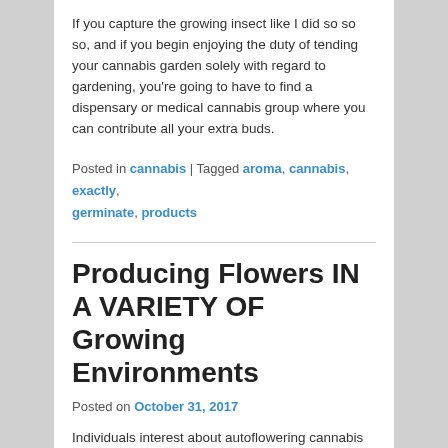If you capture the growing insect like I did so so so, and if you begin enjoying the duty of tending your cannabis garden solely with regard to gardening, you're going to have to find a dispensary or medical cannabis group where you can contribute all your extra buds.
Posted in cannabis | Tagged aroma, cannabis, exactly, germinate, products
Producing Flowers IN A VARIETY OF Growing Environments
Posted on October 31, 2017
Individuals interest about autoflowering cannabis vegetation and the best way to develop them have been exploding in the present day times and can continue to